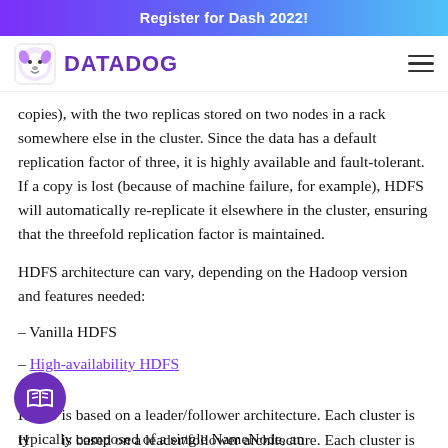Register for Dash 2022!
[Figure (logo): Datadog logo with dog icon and DATADOG wordmark in purple]
copies), with the two replicas stored on two nodes in a rack somewhere else in the cluster. Since the data has a default replication factor of three, it is highly available and fault-tolerant. If a copy is lost (because of machine failure, for example), HDFS will automatically re-replicate it elsewhere in the cluster, ensuring that the threefold replication factor is maintained.
HDFS architecture can vary, depending on the Hadoop version and features needed:
– Vanilla HDFS
– High-availability HDFS
HDFS is based on a leader/follower architecture. Each cluster is typically composed of a single NameNode, an